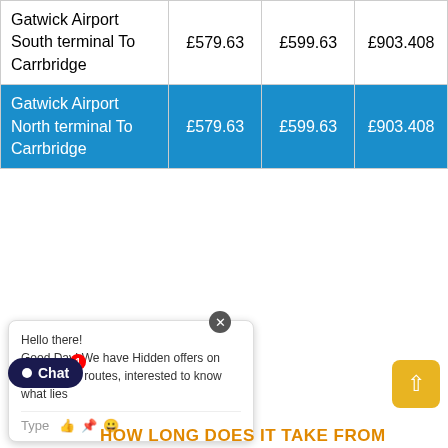| Route | Price 1 | Price 2 | Price 3 |
| --- | --- | --- | --- |
| Gatwick Airport South terminal To Carrbridge | £579.63 | £599.63 | £903.408 |
| Gatwick Airport North terminal To Carrbridge | £579.63 | £599.63 | £903.408 |
Hello there! Good Day! We have Hidden offers on most of our routes, interested to know what lies
HOW LONG DOES IT TAKE FROM